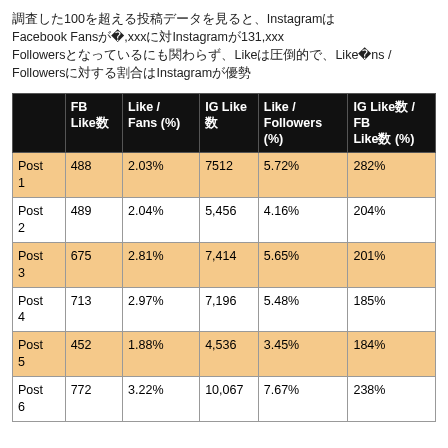調査した100を超える投稿データを見ると、InstagramはFacebook Fansが約24,xxxに対しInstagramが131,xxx Followersとなっているにも関わらず、Likeは圧倒的で、LikeのFans / Followersに対する割合はInstagramが優勢
|  | FB Like数 | Like / Fans (%) | IG Like数 | Like / Followers (%) | IG Like数 / FB Like数 (%) |
| --- | --- | --- | --- | --- | --- |
| Post 1 | 488 | 2.03% | 7512 | 5.72% | 282% |
| Post 2 | 489 | 2.04% | 5,456 | 4.16% | 204% |
| Post 3 | 675 | 2.81% | 7,414 | 5.65% | 201% |
| Post 4 | 713 | 2.97% | 7,196 | 5.48% | 185% |
| Post 5 | 452 | 1.88% | 4,536 | 3.45% | 184% |
| Post 6 | 772 | 3.22% | 10,067 | 7.67% | 238% |